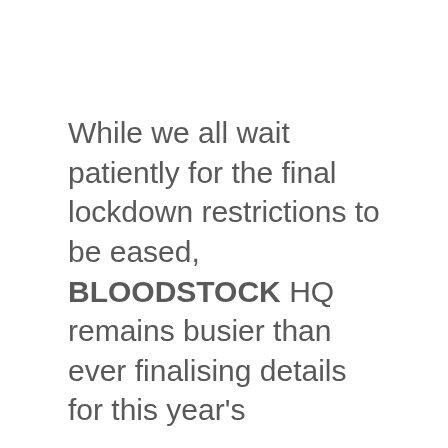While we all wait patiently for the final lockdown restrictions to be eased, BLOODSTOCK HQ remains busier than ever finalising details for this year's